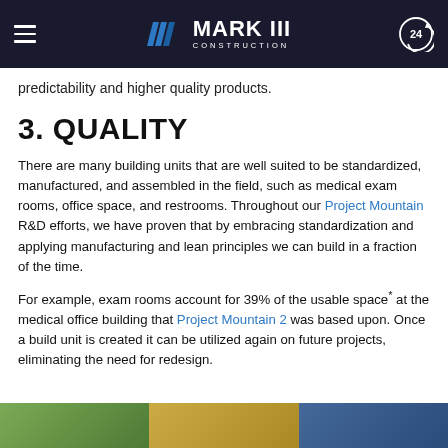MARK III CONSTRUCTION
predictability and higher quality products.
3. QUALITY
There are many building units that are well suited to be standardized, manufactured, and assembled in the field, such as medical exam rooms, office space, and restrooms. Throughout our Project Mountain R&D efforts, we have proven that by embracing standardization and applying manufacturing and lean principles we can build in a fraction of the time.
For example, exam rooms account for 39% of the usable space* at the medical office building that Project Mountain 2 was based upon. Once a build unit is created it can be utilized again on future projects, eliminating the need for redesign.
[Figure (photo): Three panel image strip showing construction/building scenes at the bottom of the page]